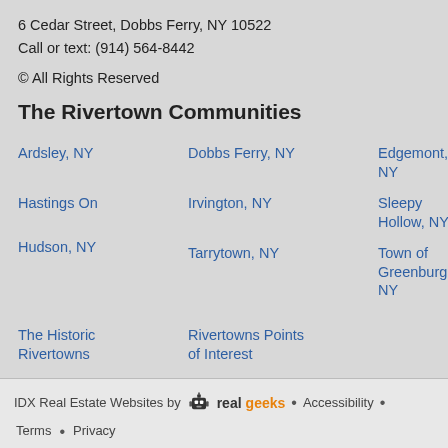6 Cedar Street, Dobbs Ferry, NY 10522
Call or text: (914) 564-8442
© All Rights Reserved
The Rivertown Communities
Ardsley, NY
Dobbs Ferry, NY
Edgemont, NY
Hastings On
Irvington, NY
Sleepy Hollow, NY
Hudson, NY
Tarrytown, NY
Town of Greenburgh, NY
The Historic Rivertowns
Rivertowns Points of Interest
IDX Real Estate Websites by RealGeeks • Accessibility • Terms • Privacy